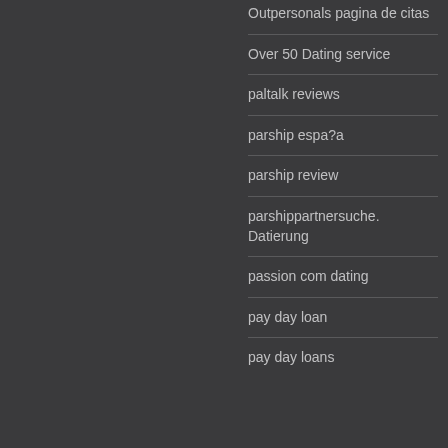Outpersonals pagina de citas
Over 50 Dating service
paltalk reviews
parship espa?a
parship review
parshippartnersuche. Datierung
passion com dating
pay day loan
pay day loans